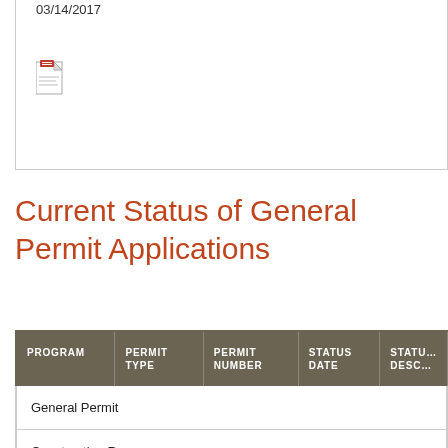03/14/2017
[Figure (other): PDF document icon]
Current Status of General Permit Applications
| PROGRAM | PERMIT TYPE | PERMIT NUMBER | STATUS DATE | STATUS DESCRIPTION |
| --- | --- | --- | --- | --- |
| General Permit |  |  |  |  |
| Construction Recoverage |  |  |  |  |